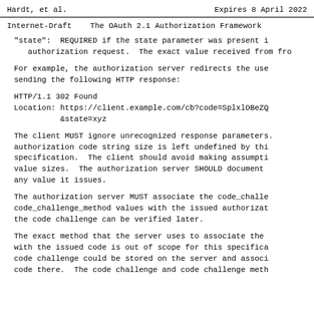Hardt, et al.                    Expires 8 April 2022
Internet-Draft      The OAuth 2.1 Authorization Framework
"state":  REQUIRED if the state parameter was present in the authorization request.  The exact value received from the client.
For example, the authorization server redirects the user-agent by sending the following HTTP response:
HTTP/1.1 302 Found
Location: https://client.example.com/cb?code=SplxlOBeZQ
                  &state=xyz
The client MUST ignore unrecognized response parameters. The authorization code string size is left undefined by this specification.  The client should avoid making assumptions about value sizes.  The authorization server SHOULD document the size of any value it issues.
The authorization server MUST associate the code_challenge and code_challenge_method values with the issued authorization code so the code challenge can be verified later.
The exact method that the server uses to associate the code_challenge with the issued code is out of scope for this specification. The code challenge could be stored on the server and associated with the code there.  The code challenge and code challenge method